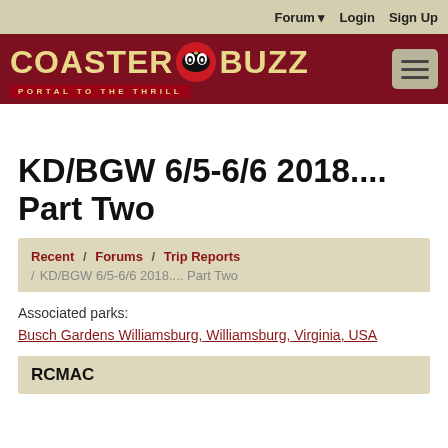Forum  Login  Sign Up
[Figure (logo): CoasterBuzz - Portal to the Thrill logo on dark red background with hamburger menu button]
KD/BGW 6/5-6/6 2018.... Part Two
Recent / Forums / Trip Reports / KD/BGW 6/5-6/6 2018.... Part Two
Associated parks:
Busch Gardens Williamsburg, Williamsburg, Virginia, USA
RCMAC